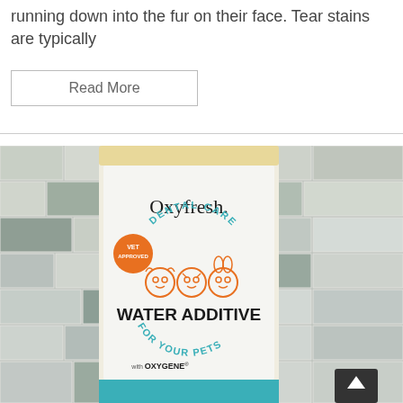running down into the fur on their face. Tear stains are typically
Read More
[Figure (photo): Photo of an Oxyfresh Dental Care Water Additive for Pets product bottle with a white label showing the brand name 'Oxyfresh.', an orange 'Vet Approved' badge, 'DENTAL CARE' in teal arc text, three pet face icons (dog, cat, rabbit), 'WATER ADDITIVE' in bold black text, 'FOR YOUR PETS' in teal arc text, and 'with OXYGENE' at the bottom, against a tiled wall background.]